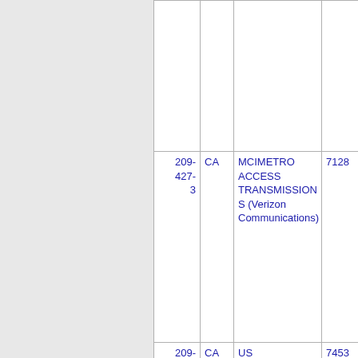| Number | State | Company | Code | ... |
| --- | --- | --- | --- | --- |
|  |  |  |  |  |
| 209-427-3 | CA | MCIMETRO ACCESS TRANSMISSION S (Verizon Communications) | 7128 | ... |
| 209-427-4 | CA | US TELEPACIFIC CORP. - CA | 7453 | ... |